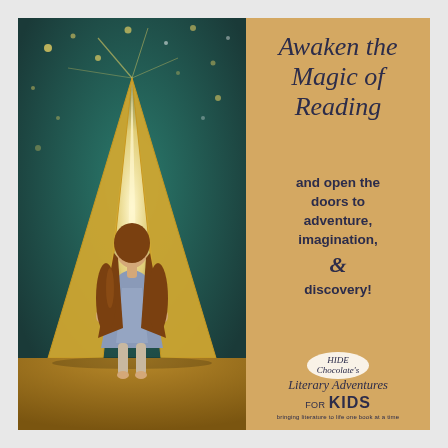[Figure (photo): A young girl with long curly hair, wearing a blue dress, standing with her back to viewer, facing a giant open book glowing with golden light against a magical teal/dark green sparkly background.]
Awaken the Magic of Reading
and open the doors to adventure, imagination, & discovery!
[Figure (logo): Hide Chocolate's Literary Adventures FOR KIDS logo with tagline 'bringing literature to life one book at a time']